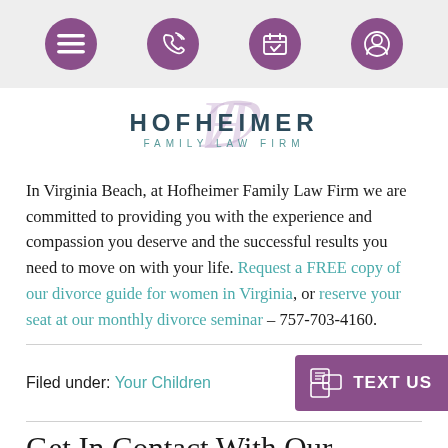[Figure (screenshot): Top navigation bar with purple circular icons: hamburger menu, phone/call icon, calendar/appointment icon, user/account icon]
[Figure (logo): Hofheimer Family Law Firm logo with stylized script H watermark, bold dark text HOFHEIMER above, FAMILY LAW FIRM in teal spaced letters below]
In Virginia Beach, at Hofheimer Family Law Firm we are committed to providing you with the experience and compassion you deserve and the successful results you need to move on with your life. Request a FREE copy of our divorce guide for women in Virginia, or reserve your seat at our monthly divorce seminar – 757-703-4160.
Filed under: Your Children
Get In Contact With Our Attorneys